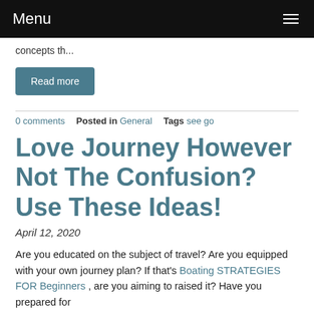Menu
concepts th...
Read more
0 comments  Posted in General  Tags see go
Love Journey However Not The Confusion? Use These Ideas!
April 12, 2020
Are you educated on the subject of travel? Are you equipped with your own journey plan? If that's Boating STRATEGIES FOR Beginners , are you aiming to raised it? Have you prepared for